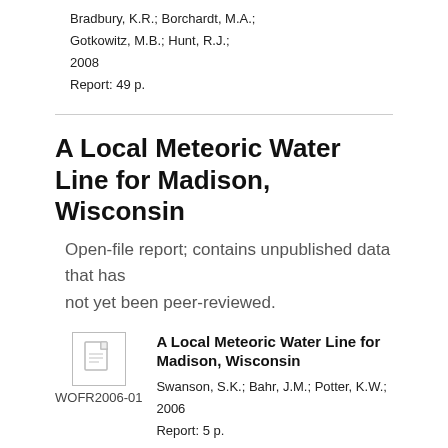Bradbury, K.R.; Borchardt, M.A.;
Gotkowitz, M.B.; Hunt, R.J.;
2008
Report: 49 p.
A Local Meteoric Water Line for Madison, Wisconsin
Open-file report; contains unpublished data that has not yet been peer-reviewed.
[Figure (other): Document thumbnail icon for WOFR2006-01]
WOFR2006-01
A Local Meteoric Water Line for Madison, Wisconsin
Swanson, S.K.; Bahr, J.M.; Potter, K.W.;
2006
Report: 5 p.